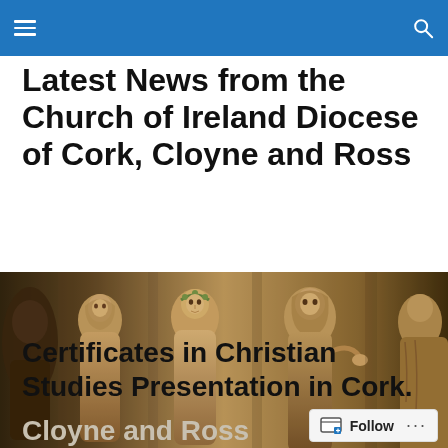Latest News from the Church of Ireland Diocese of Cork, Cloyne and Ross
Latest News from the Church of Ireland Diocese of Cork, Cloyne and Ross
[Figure (photo): Sepia-toned photograph of ancient stone relief sculptures depicting robed classical or biblical figures in a frieze or architectural carving]
Certificates in Christian Studies Presentation in Cork.
Cloyne and Ross